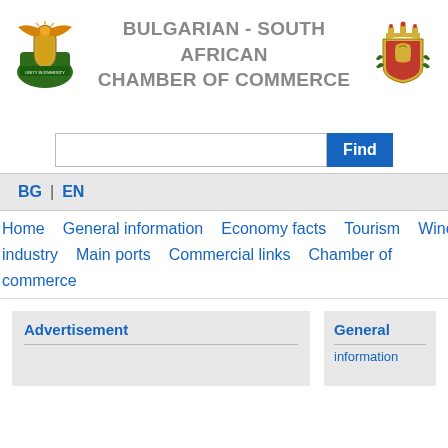[Figure (logo): South African coat of arms — eagle with shield]
BULGARIAN - SOUTH AFRICAN CHAMBER OF COMMERCE
[Figure (logo): Bulgarian coat of arms — lion on shield with crown]
[Figure (other): Search bar with Find button]
BG | EN
Home   General information   Economy facts   Tourism   Wine industry   Main ports   Commercial links   Chamber of commerce
Advertisement
General information